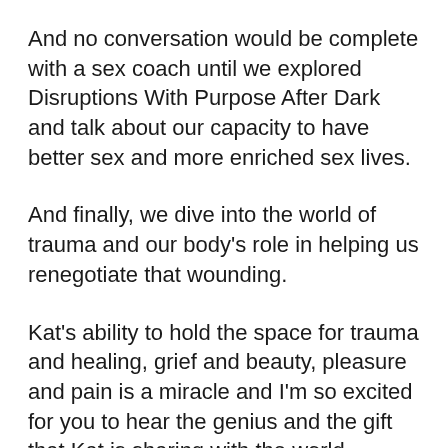And no conversation would be complete with a sex coach until we explored Disruptions With Purpose After Dark and talk about our capacity to have better sex and more enriched sex lives.
And finally, we dive into the world of trauma and our body's role in helping us renegotiate that wounding.
Kat's ability to hold the space for trauma and healing, grief and beauty, pleasure and pain is a miracle and I'm so excited for you to hear the genius and the gift that Kat is sharing with the world.
In this episode we talk about: